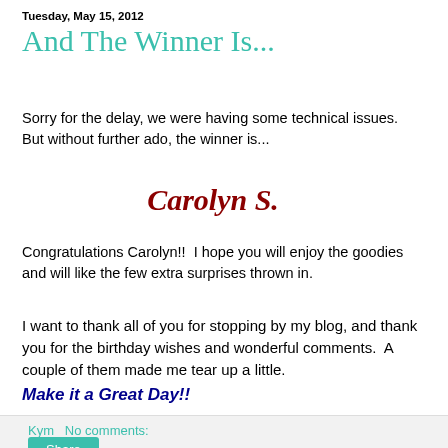Tuesday, May 15, 2012
And The Winner Is...
Sorry for the delay, we were having some technical issues.  But without further ado, the winner is...
Carolyn S.
Congratulations Carolyn!!  I hope you will enjoy the goodies and will like the few extra surprises thrown in.
I want to thank all of you for stopping by my blog, and thank you for the birthday wishes and wonderful comments.  A couple of them made me tear up a little.
Make it a Great Day!!
Kym    No comments: